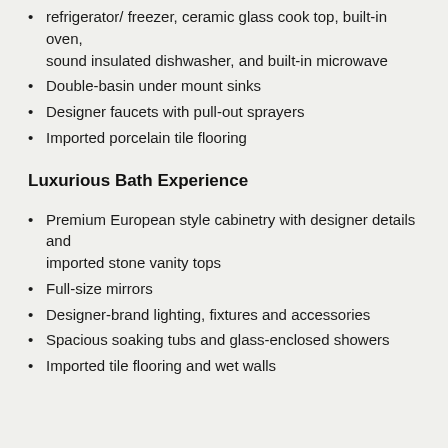refrigerator/ freezer, ceramic glass cook top, built-in oven, sound insulated dishwasher, and built-in microwave
Double-basin under mount sinks
Designer faucets with pull-out sprayers
Imported porcelain tile flooring
Luxurious Bath Experience
Premium European style cabinetry with designer details and imported stone vanity tops
Full-size mirrors
Designer-brand lighting, fixtures and accessories
Spacious soaking tubs and glass-enclosed showers
Imported tile flooring and wet walls